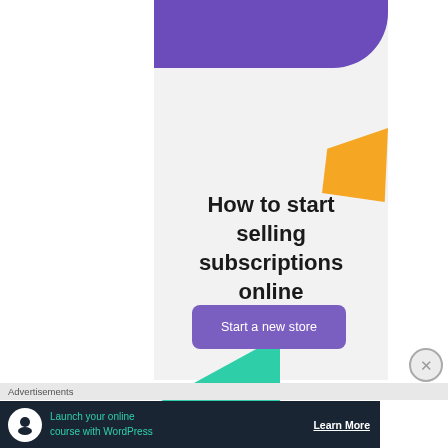[Figure (illustration): A promotional card with light gray background, purple shape at top, orange shape at upper right, teal/green shape at bottom left, containing a title and CTA button]
How to start selling subscriptions online
Start a new store
Advertisements
Launch your online course with WordPress
Learn More